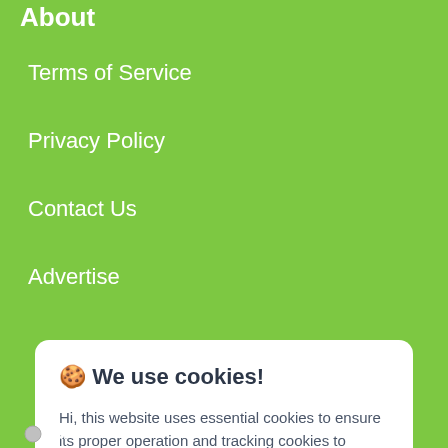About
Terms of Service
Privacy Policy
Contact Us
Advertise
🍪 We use cookies!
Hi, this website uses essential cookies to ensure its proper operation and tracking cookies to understand how you interact with it. The latter will be set only after consent. Let me choose
Accept all
Reject all
All